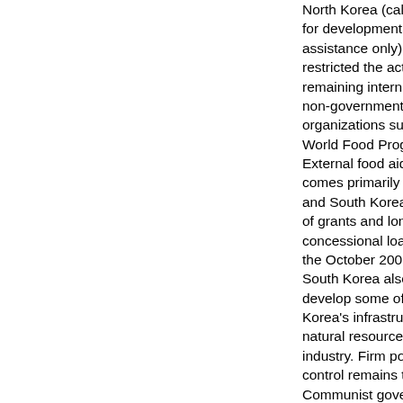North Korea (calling for developmental assistance only) and restricted the activities remaining international non-governmental and organizations such as World Food Program. External food aid now comes primarily from and South Korea in the of grants and long-term concessional loans. At the October 2007 su South Korea also agreed develop some of North Korea's infrastructure natural resources and industry. Firm political control remains the Communist government's overriding concern, which will likely inhibit the loosening of economic regulations.